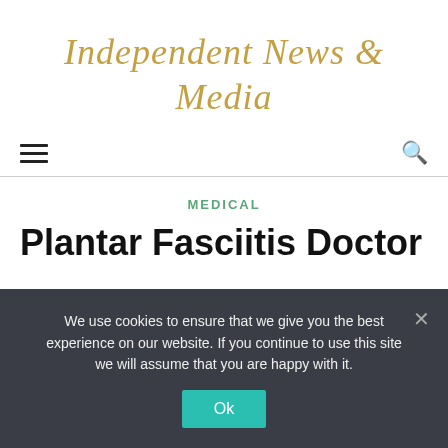Independent News & Media
[Figure (screenshot): Navigation bar with hamburger menu icon on the left and search icon on the right, with a horizontal rule below]
MEDICAL
Plantar Fasciitis Doctor
We use cookies to ensure that we give you the best experience on our website. If you continue to use this site we will assume that you are happy with it.